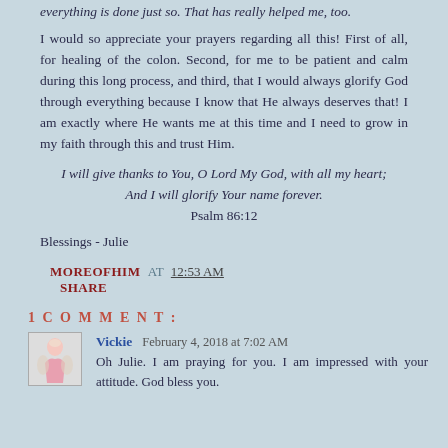everything is done just so. That has really helped me, too.
I would so appreciate your prayers regarding all this! First of all, for healing of the colon. Second, for me to be patient and calm during this long process, and third, that I would always glorify God through everything because I know that He always deserves that! I am exactly where He wants me at this time and I need to grow in my faith through this and trust Him.
I will give thanks to You, O Lord My God, with all my heart; And I will glorify Your name forever.
Psalm 86:12
Blessings - Julie
MOREOFHIM AT 12:53 AM
SHARE
1 COMMENT:
Vickie  February 4, 2018 at 7:02 AM
Oh Julie. I am praying for you. I am impressed with your attitude. God bless you.